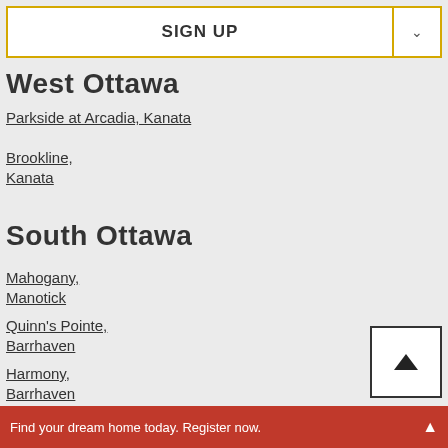[Figure (screenshot): SIGN UP button with dropdown arrow, yellow border]
West Ottawa
Parkside at Arcadia, Kanata
Brookline, Kanata
South Ottawa
Mahogany, Manotick
Quinn's Pointe, Barrhaven
Harmony, Barrhaven
Anthem,
Find your dream home today. Register now.